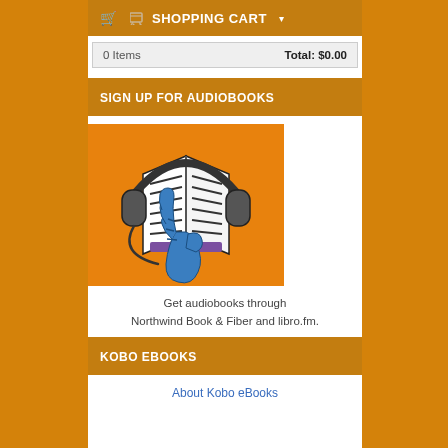SHOPPING CART
| 0 Items | Total: $0.00 |
| --- | --- |
SIGN UP FOR AUDIOBOOKS
[Figure (illustration): Illustration of a hand holding an open book with headphones over it on an orange background]
Get audiobooks through Northwind Book & Fiber and libro.fm.
KOBO EBOOKS
About Kobo eBooks